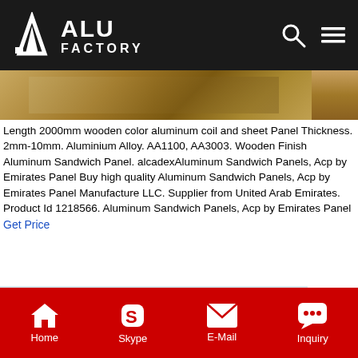ALU FACTORY
[Figure (photo): Top strip showing wooden color aluminum coil/sheet product]
Length 2000mm wooden color aluminum coil and sheet Panel Thickness. 2mm-10mm. Aluminium Alloy. AA1100, AA3003. Wooden Finish Aluminum Sandwich Panel. alcadexAluminum Sandwich Panels, Acp by Emirates Panel Buy high quality Aluminum Sandwich Panels, Acp by Emirates Panel Manufacture LLC. Supplier from United Arab Emirates. Product Id 1218566. Aluminum Sandwich Panels, Acp by Emirates Panel
Get Price
[Figure (photo): Large photo of a shiny aluminum sheet/panel with wooden material visible on the right side]
Home  Skype  E-Mail  Inquiry